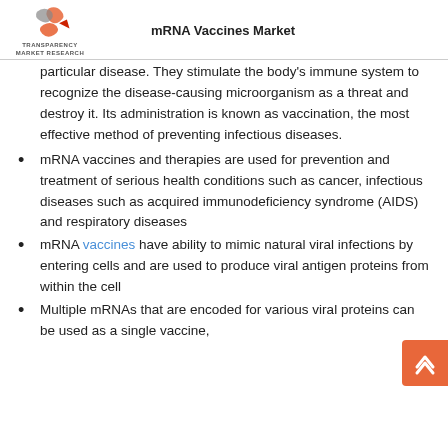mRNA Vaccines Market
particular disease. They stimulate the body's immune system to recognize the disease-causing microorganism as a threat and destroy it. Its administration is known as vaccination, the most effective method of preventing infectious diseases.
mRNA vaccines and therapies are used for prevention and treatment of serious health conditions such as cancer, infectious diseases such as acquired immunodeficiency syndrome (AIDS) and respiratory diseases
mRNA vaccines have ability to mimic natural viral infections by entering cells and are used to produce viral antigen proteins from within the cell
Multiple mRNAs that are encoded for various viral proteins can be used as a single vaccine,